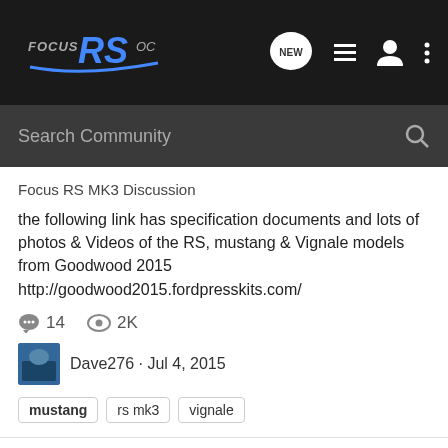Focus RS OC
Search Community
Focus RS MK3 Discussion
the following link has specification documents and lots of photos & Videos of the RS, mustang & Vignale models from Goodwood 2015 http://goodwood2015.fordpresskits.com/
14  2K
Dave276 · Jul 4, 2015
mustang
rs mk3
vignale
Ford and Petty's Garage Team Up To Build Limited-Edition Mustang GT
Other Marque | Automotive Discussion
In case people haven't heard about this. Full detals see http://www.at.ford.com/SiteCollectionImages/2015_NA/Feb/E